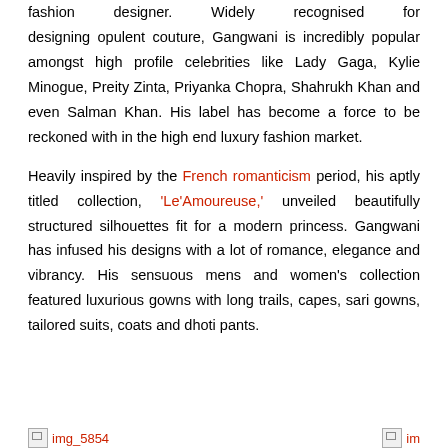fashion designer. Widely recognised for designing opulent couture, Gangwani is incredibly popular amongst high profile celebrities like Lady Gaga, Kylie Minogue, Preity Zinta, Priyanka Chopra, Shahrukh Khan and even Salman Khan. His label has become a force to be reckoned with in the high end luxury fashion market.
Heavily inspired by the French romanticism period, his aptly titled collection, ‘Le’Amoureuse,’ unveiled beautifully structured silhouettes fit for a modern princess. Gangwani has infused his designs with a lot of romance, elegance and vibrancy. His sensuous mens and women’s collection featured luxurious gowns with long trails, capes, sari gowns, tailored suits, coats and dhoti pants.
[Figure (photo): Image placeholder labeled img_5854]
[Figure (photo): Image placeholder (partial, cut off on right)]